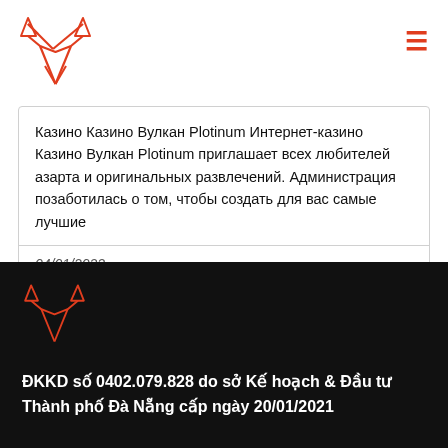[Figure (logo): Red fox logo outline at top left]
Казино Казино Вулкан Plotinum Интернет-казино Казино Вулкан Plotinum приглашает всех любителей азарта и оригинальных развлечений. Администрация позаботилась о том, чтобы создать для вас самые лучшие
04/01/2022
[Figure (logo): Red fox logo outline in footer on dark background]
ĐKKD số 0402.079.828 do sở Kế hoạch & Đầu tư Thành phố Đà Nẵng cấp ngày 20/01/2021